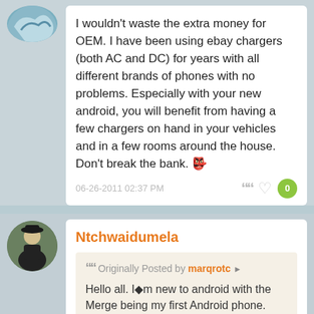I wouldn't waste the extra money for OEM. I have been using ebay chargers (both AC and DC) for years with all different brands of phones with no problems. Especially with your new android, you will benefit from having a few chargers on hand in your vehicles and in a few rooms around the house. Don't break the bank. 🐱
06-26-2011 02:37 PM
Ntchwaidumela
Originally Posted by marqrotc
Hello all. I'm new to android with the Merge being my first Android phone. What I'm looking for is a wall charger that I can rely on. I'm skeptical about getting a universal one or an off the wall brand on the internet. I have